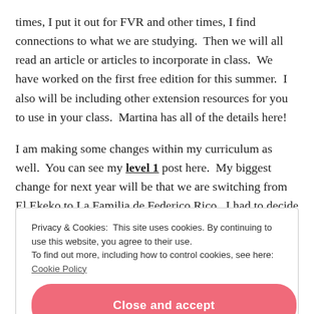times, I put it out for FVR and other times, I find connections to what we are studying.  Then we will all read an article or articles to incorporate in class.  We have worked on the first free edition for this summer.  I also will be including other extension resources for you to use in your class.  Martina has all of the details here!
I am making some changes within my curriculum as well.  You can see my level 1 post here.  My biggest change for next year will be that we are switching from El Ekeko to La Familia de Federico Rico.  I had to decide on books before my class had finished reading El Ekeko,
Privacy & Cookies: This site uses cookies. By continuing to use this website, you agree to their use.
To find out more, including how to control cookies, see here: Cookie Policy
Close and accept
the illustrations and that I can talk about them a la Señor Wooly's